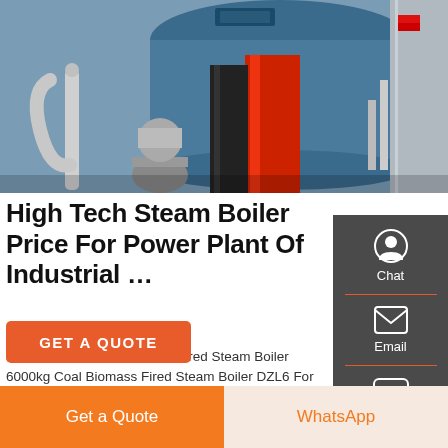[Figure (photo): Industrial steam boiler equipment in a plant — large blue cylindrical boiler body with red vertical component, pipes, and motor visible in the foreground.]
High Tech Steam Boiler Price For Power Plant Of Industrial …
Steam Boiler For Plant Coal Fired Steam Boiler 6000kg Coal Biomass Fired Steam Boiler DZL6 For Palm Oil Plant. $184,900.00-$185,000.00/ Set. 1 Set (Min. Order) Wuxi Zozen Boilers Co., Ltd. CN 16 YRS ≤7h response time. 5.0 ( 7) "fast delivery" "Good supplier". Contact Supplier.
GET A QUOTE
Get a Quote
WhatsApp